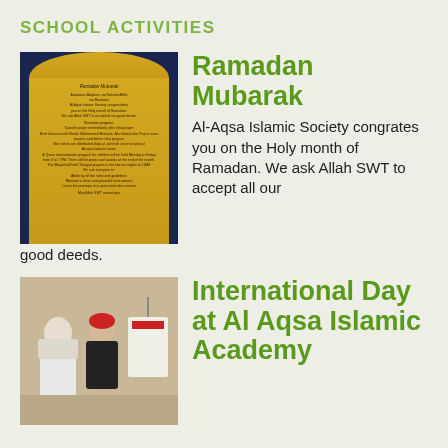SCHOOL ACTIVITIES
[Figure (illustration): Ramadan Mubarak announcement card with dark blue background and gold arch panel containing Arabic greeting and program details]
Ramadan Mubarak
Al-Aqsa Islamic Society congrates you on the Holy month of Ramadan. We ask Allah SWT to accept all our good deeds.
[Figure (photo): Children dressed in cultural costumes at International Day event at Al Aqsa Islamic Academy]
International Day at Al Aqsa Islamic Academy